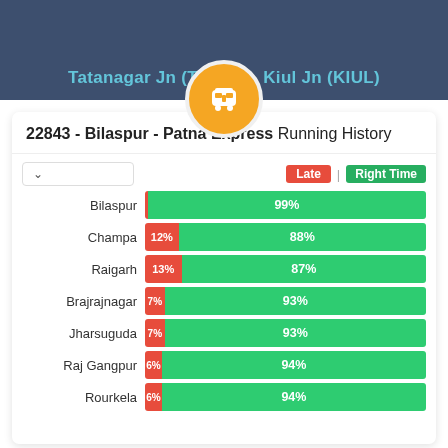Tatanagar Jn (TATA) → Kiul Jn (KIUL)
22843 - Bilaspur - Patna Express Running History
[Figure (bar-chart): 22843 - Bilaspur - Patna Express Running History]